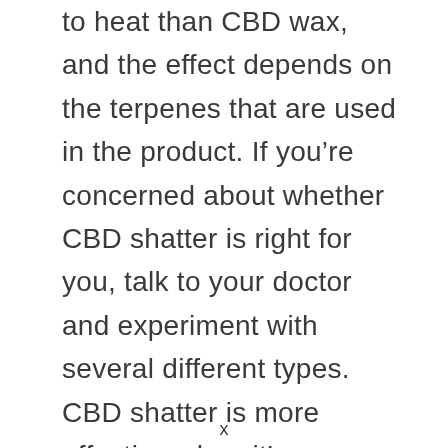to heat than CBD wax, and the effect depends on the terpenes that are used in the product. If you're concerned about whether CBD shatter is right for you, talk to your doctor and experiment with several different types. CBD shatter is more effective when it's vaporized at the right temperature.
x